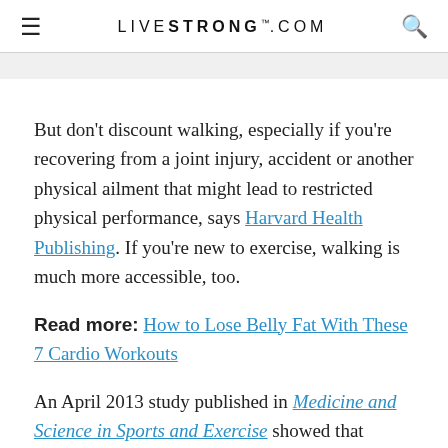LIVESTRONG.COM
But don't discount walking, especially if you're recovering from a joint injury, accident or another physical ailment that might lead to restricted physical performance, says Harvard Health Publishing. If you're new to exercise, walking is much more accessible, too.
Read more: How to Lose Belly Fat With These 7 Cardio Workouts
An April 2013 study published in Medicine and Science in Sports and Exercise showed that although running produced greater weight loss than walking, you can still